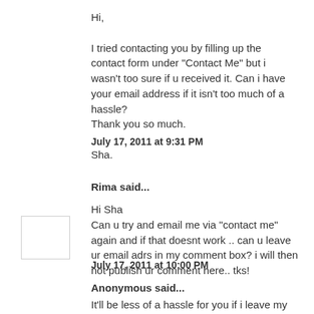Hi,

I tried contacting you by filling up the contact form under "Contact Me" but i wasn't too sure if u received it. Can i have your email address if it isn't too much of a hassle?
Thank you so much.

Sha.
July 17, 2011 at 9:31 PM
Rima said...
Hi Sha
Can u try and email me via "contact me" again and if that doesnt work .. can u leave ur email adrs in my comment box? i will then not publish ur comment here.. tks!
July 17, 2011 at 10:00 PM
Anonymous said...
It'll be less of a hassle for you if i leave my email address here.